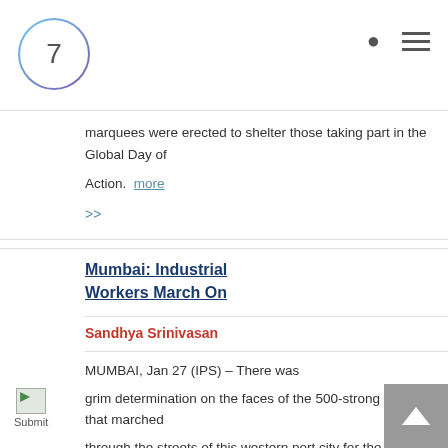7
marquees were erected to shelter those taking part in theGlobal Day of Action.  more >>
Mumbai: Industrial Workers March On
Sandhya Srinivasan
MUMBAI, Jan 27 (IPS) – There was grim determination on the faces of the 500-strong crowd that marched through the streets of this western port city for the World Social Forum.